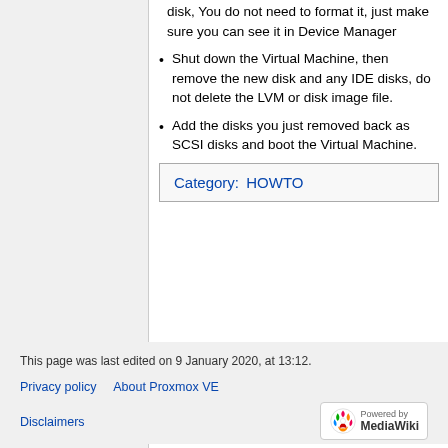disk, You do not need to format it, just make sure you can see it in Device Manager
Shut down the Virtual Machine, then remove the new disk and any IDE disks, do not delete the LVM or disk image file.
Add the disks you just removed back as SCSI disks and boot the Virtual Machine.
Category: HOWTO
This page was last edited on 9 January 2020, at 13:12.
Privacy policy   About Proxmox VE
Disclaimers